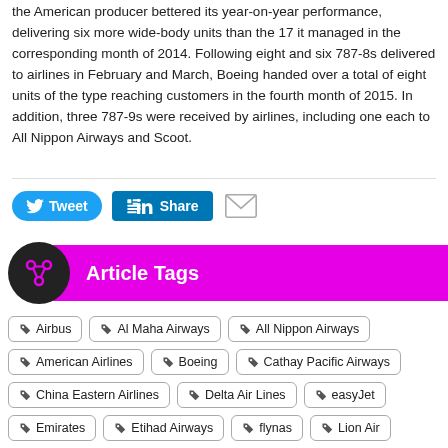the American producer bettered its year-on-year performance, delivering six more wide-body units than the 17 it managed in the corresponding month of 2014. Following eight and six 787-8s delivered to airlines in February and March, Boeing handed over a total of eight units of the type reaching customers in the fourth month of 2015. In addition, three 787-9s were received by airlines, including one each to All Nippon Airways and Scoot.
[Figure (infographic): Social sharing buttons: Tweet (Twitter/blue), Share (LinkedIn/blue), and email envelope icon]
Article Tags
Airbus
Al Maha Airways
All Nippon Airways
American Airlines
Boeing
Cathay Pacific Airways
China Eastern Airlines
Delta Air Lines
easyJet
Emirates
Etihad Airways
flynas
Lion Air
Lufthansa
Philippine Airlines
Ryanair